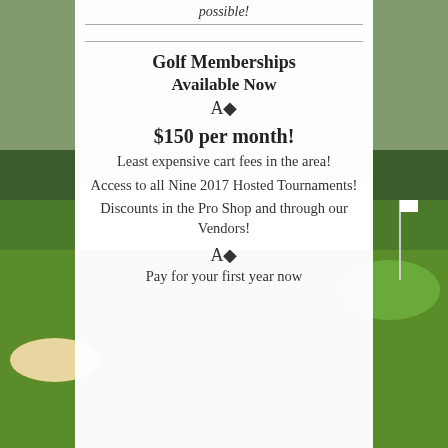[Figure (photo): Golf course background photo showing green fairway and trees]
possible!
Golf Memberships
Available Now
A♦
$150 per month!
Least expensive cart fees in the area!
Access to all Nine 2017 Hosted Tournaments!
Discounts in the Pro Shop and through our Vendors!
A♦
Pay for your first year now